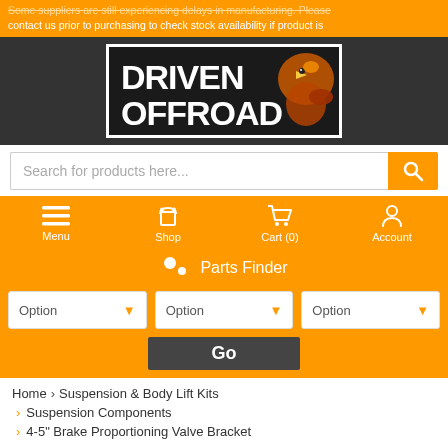Some suppliers are still experiencing delays in manufacturing. Please contact us prior to purchasing to check stock availability if product is
[Figure (logo): Driven Offroad logo with kangaroo/eagle mascot on dark background with white border]
Search for products here...
Menu  Shop  Cart (0)  Account
Parts Finder
Option  Option  Option
Go
Home > Suspension & Body Lift Kits
> Suspension Components
> 4-5" Brake Proportioning Valve Bracket